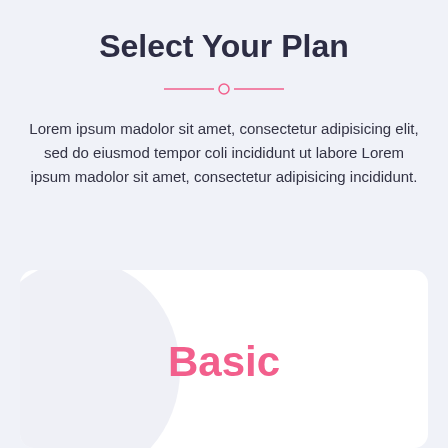Select Your Plan
Lorem ipsum madolor sit amet, consectetur adipisicing elit, sed do eiusmod tempor coli incididunt ut labore Lorem ipsum madolor sit amet, consectetur adipisicing incididunt.
Basic